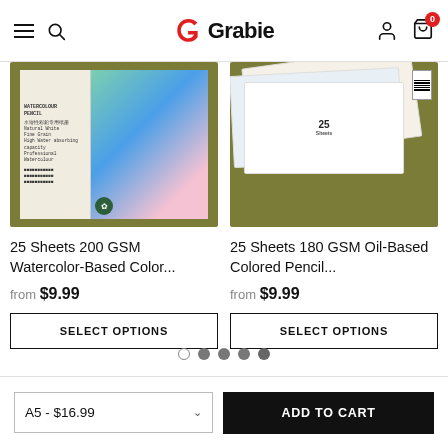Grabie — navigation header with hamburger menu, search, logo, user icon, cart (0)
[Figure (photo): Product photo of 25 Sheets 200 GSM Watercolor-Based Colored Pencil paper on olive/green background]
25 Sheets 200 GSM Watercolor-Based Color...
from $9.99
SELECT OPTIONS
[Figure (photo): Product photo of 25 Sheets 180 GSM Oil-Based Colored Pencil paper on olive/green background]
25 Sheets 180 GSM Oil-Based Colored Pencil...
from $9.99
SELECT OPTIONS
pagination dots: 1 empty, 4 filled
A5 - $16.99
ADD TO CART